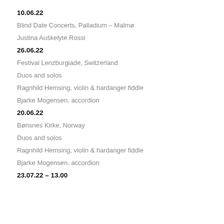10.06.22
Blind Date Concerts, Palladium – Malmø
Justina Auškelytė Rossi
26.06.22
Festival Lenzburgiade, Switzerland
Duos and solos
Ragnhild Hemsing, violin & hardanger fiddle
Bjarke Mogensen, accordion
20.06.22
Bønsnes Kirke, Norway
Duos and solos
Ragnhild Hemsing, violin & hardanger fiddle
Bjarke Mogensen, accordion
23.07.22 – 13.00